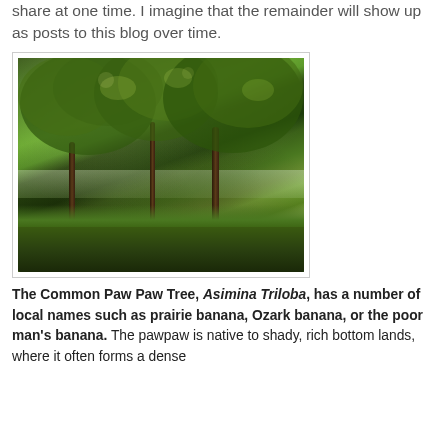share at one time. I imagine that the remainder will show up as posts to this blog over time.
[Figure (photo): Photograph of Paw Paw trees (Asimina Triloba) in a grassy outdoor setting, showing multiple tree trunks with broad green leafy canopies, sunlight filtering through leaves, with a field visible in the background.]
The Common Paw Paw Tree, Asimina Triloba, has a number of local names such as prairie banana, Ozark banana, or the poor man's banana. The pawpaw is native to shady, rich bottom lands, where it often forms a dense